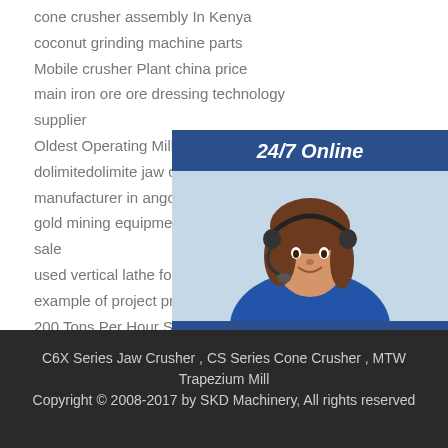cone crusher assembly In Kenya
coconut grinding machine parts
Mobile crusher Plant china price
main iron ore ore dressing technology supplier
Oldest Operating Mill In The Us
dolimitedolimite jaw crusher manufacturer in ango
gold mining equipment in malaysia for sale
used vertical lathe for sale indonesia
example of project proposal for mining
200 Tons Per Hour Stone Jaw crushing Equipme
sand and quarry importer in singapore
stone crusher cost balance sheet
[Figure (photo): 24/7 Online sidebar with a woman wearing a headset, a 'Have any requests, click here.' message, and a Quotation button]
C6X Series Jaw Crusher , CS Series Cone Crusher , MTW Trapezium Mill
Copyright © 2008-2017 by SKD Machinery, All rights reserved